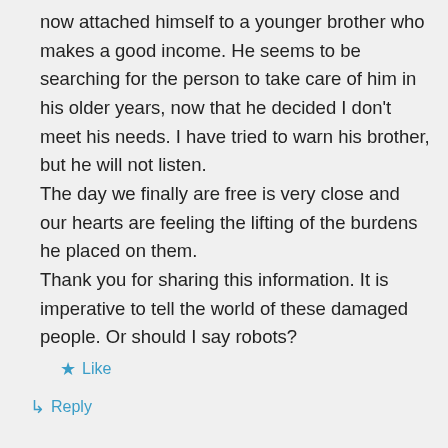now attached himself to a younger brother who makes a good income. He seems to be searching for the person to take care of him in his older years, now that he decided I don't meet his needs. I have tried to warn his brother, but he will not listen. The day we finally are free is very close and our hearts are feeling the lifting of the burdens he placed on them. Thank you for sharing this information. It is imperative to tell the world of these damaged people. Or should I say robots?
★ Like
↳ Reply